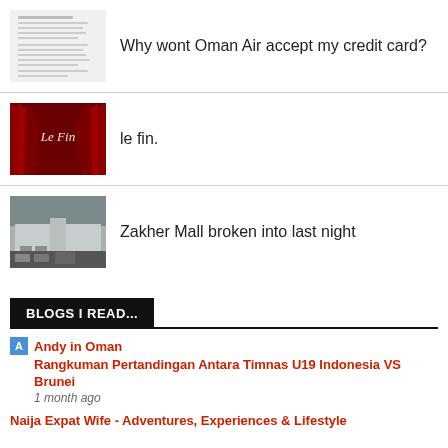Why wont Oman Air accept my credit card?
le fin.
Zakher Mall broken into last night
BLOGS I READ...
Andy in Oman
Rangkuman Pertandingan Antara Timnas U19 Indonesia VS Brunei
1 month ago
Naija Expat Wife - Adventures, Experiences & Lifestyle